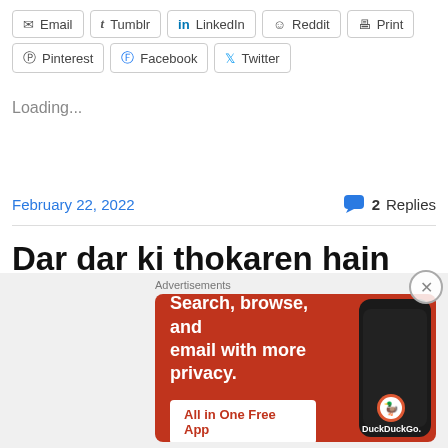Email  Tumblr  LinkedIn  Reddit  Print
Pinterest  Facebook  Twitter
Loading...
February 22, 2022   💬 2 Replies
Dar dar ki thokaren hain
★★★★★ ℹ 1 Vote
Advertisements
[Figure (other): DuckDuckGo advertisement banner: orange/red background with text 'Search, browse, and email with more privacy. All in One Free App' and a phone mockup showing the DuckDuckGo app logo]